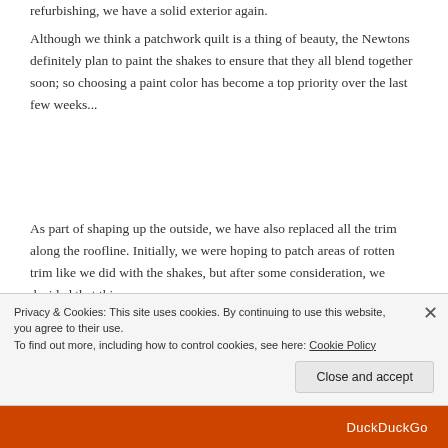refurbishing, we have a solid exterior again.
Although we think a patchwork quilt is a thing of beauty, the Newtons definitely plan to paint the shakes to ensure that they all blend together soon; so choosing a paint color has become a top priority over the last few weeks...
As part of shaping up the outside, we have also replaced all the trim along the roofline. Initially, we were hoping to patch areas of rotten trim like we did with the shakes, but after some consideration, we decided that this
Privacy & Cookies: This site uses cookies. By continuing to use this website, you agree to their use.
To find out more, including how to control cookies, see here: Cookie Policy
Close and accept
DuckDuckGo